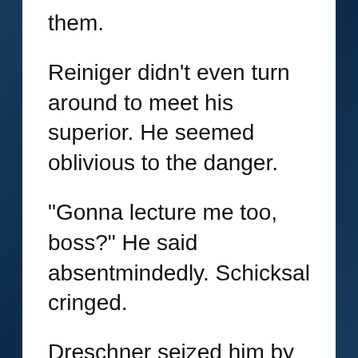them.
Reiniger didn't even turn around to meet his superior. He seemed oblivious to the danger.
“Gonna lecture me too, boss?” He said absentmindedly. Schicksal cringed.
Dreschner seized him by the collar, turned him partway around and socked him.
Noel averted his eyes and covered his mouth, shaking his head.
The General’s fist connected with